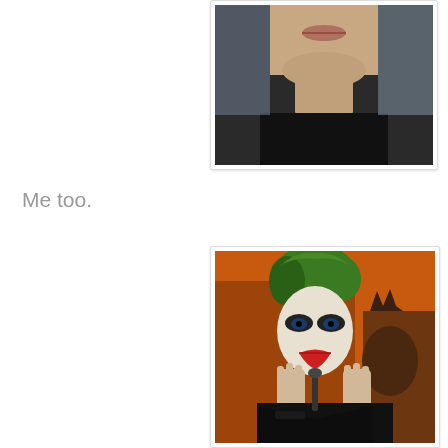[Figure (photo): Close-up photo of a young man from the chin/neck area showing lower face and black shirt, cropped at top]
Me too.
[Figure (photo): Photo of person dressed as the Joker with green hair, white face paint, red lipstick, and black outfit, with Batman visible in background against orange sky]